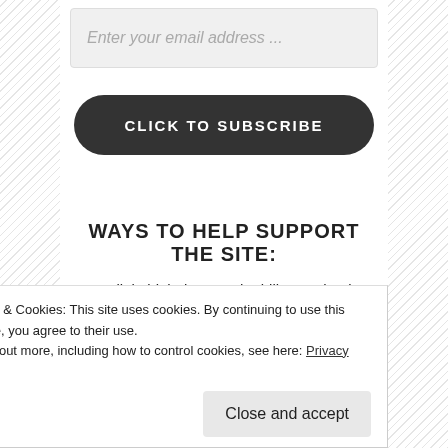[Figure (screenshot): Email input field with placeholder text 'Enter your email address ...' on a light gray background]
[Figure (screenshot): Dark rounded button labeled 'CLICK TO SUBSCRIBE']
WAYS TO HELP SUPPORT THE SITE:
Every little bit helps pay the bills. My thanks in advance if you'd consider helping out through one of the following methods:
Privacy & Cookies: This site uses cookies. By continuing to use this website, you agree to their use.
To find out more, including how to control cookies, see here: Privacy Policy
[Figure (screenshot): Close and accept button on cookie banner]